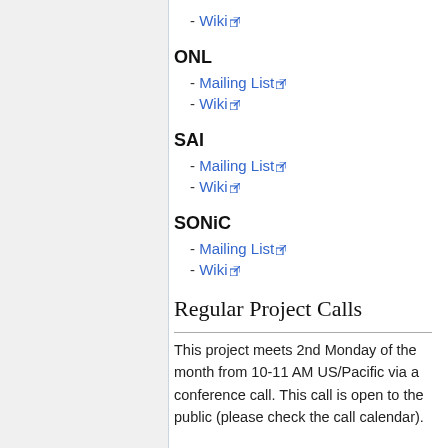- Wiki
ONL
- Mailing List
- Wiki
SAI
- Mailing List
- Wiki
SONiC
- Mailing List
- Wiki
Regular Project Calls
This project meets 2nd Monday of the month from 10-11 AM US/Pacific via a conference call. This call is open to the public (please check the call calendar).